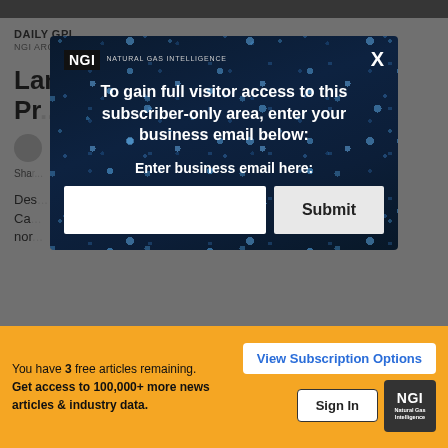DAILY GPI
NGI ARCHIVES | NGI ALL NEWS ACCESS
Land Disputes Hold Up Some Pr...
Sha...
Des... Ca... nor...
[Figure (screenshot): NGI modal popup overlay with dark blue bokeh background. Header shows NGI Natural Gas Intelligence logo and X close button. Text reads: 'To gain full visitor access to this subscriber-only area, enter your business email below:' with 'Enter business email here:' label, an email input field, and a Submit button.]
You have 3 free articles remaining. Get access to 100,000+ more news articles & industry data.
View Subscription Options
Sign In